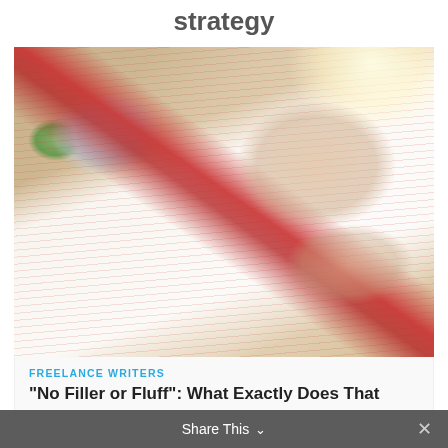strategy
[Figure (photo): A person's hand holding a red pen, editing/marking up a printed document with red ink corrections, with a tablet and plants visible in the background on a wooden desk]
FREELANCE WRITERS
“No Filler or Fluff”: What Exactly Does That
Share This ⌄  ×